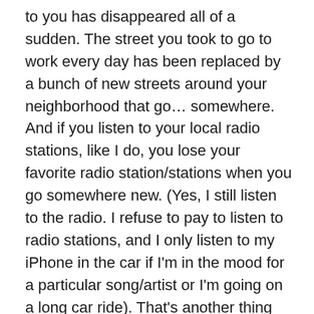to you has disappeared all of a sudden. The street you took to go to work every day has been replaced by a bunch of new streets around your neighborhood that go… somewhere. And if you listen to your local radio stations, like I do, you lose your favorite radio station/stations when you go somewhere new. (Yes, I still listen to the radio. I refuse to pay to listen to radio stations, and I only listen to my iPhone in the car if I'm in the mood for a particular song/artist or I'm going on a long car ride). That's another thing that falls out of place when you move: your programmed radio stations. Very much like when you drive into a new city far from home and you press the scan button, looking for something to listen to, but fumble around for a good ten minutes or so.

This time around I was spared that exercise when my boyfriend–who drove my car halfway across the US to our